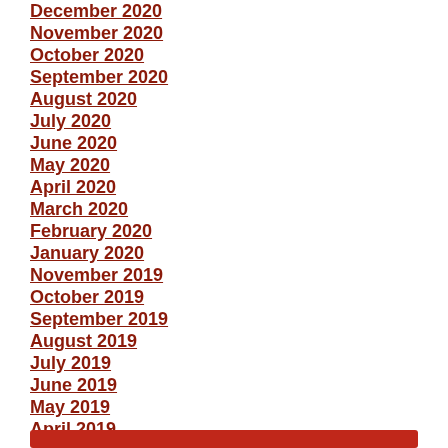December 2020
November 2020
October 2020
September 2020
August 2020
July 2020
June 2020
May 2020
April 2020
March 2020
February 2020
January 2020
November 2019
October 2019
September 2019
August 2019
July 2019
June 2019
May 2019
April 2019